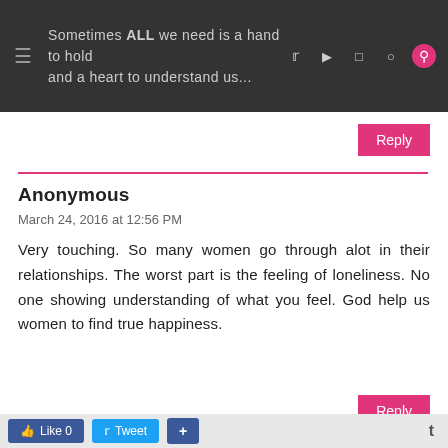Sometimes ALL we need is a hand to hold and a heart to understand us...
Reply
Anonymous
March 24, 2016 at 12:56 PM
Very touching. So many women go through alot in their relationships. The worst part is the feeling of loneliness. No one showing understanding of what you feel. God help us women to find true happiness.
Reply
Berry Dakara
Like 0   Tweet   +   t